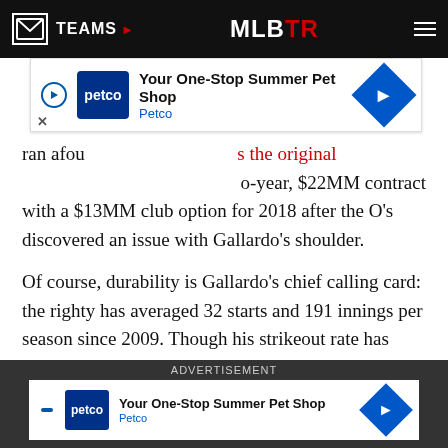TEAMS | MLBTR
[Figure (other): Petco advertisement banner: Your One-Stop Summer Pet Shop]
ran afoul of the original two-year, $22MM contract with a $13MM club option for 2018 after the O’s discovered an issue with Gallardo’s shoulder.
Of course, durability is Gallardo’s chief calling card: the righty has averaged 32 starts and 191 innings per season since 2009. Though his strikeout rate has steadily dropped over the last three years and he posted just a 5.9 K/9 last season (against 3.3 BB/9), Gallardo has posted at least 2 fWAR in each of the last four seasons and proved last year in Texas that he could succeed against American League lineups.
Questions Remaining
[Figure (other): Bottom advertisement bar: Petco - Your One-Stop Summer Pet Shop]